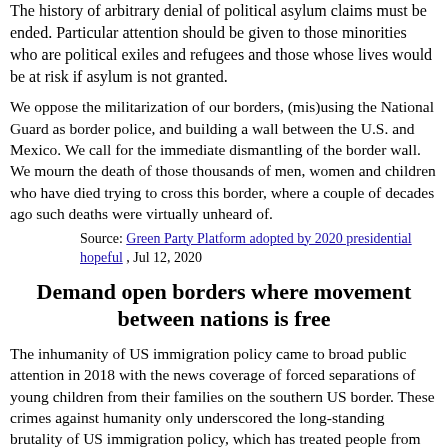The history of arbitrary denial of political asylum claims must be ended. Particular attention should be given to those minorities who are political exiles and refugees and those whose lives would be at risk if asylum is not granted.
We oppose the militarization of our borders, (mis)using the National Guard as border police, and building a wall between the U.S. and Mexico. We call for the immediate dismantling of the border wall. We mourn the death of those thousands of men, women and children who have died trying to cross this border, where a couple of decades ago such deaths were virtually unheard of.
Source: Green Party Platform adopted by 2020 presidential hopeful , Jul 12, 2020
Demand open borders where movement between nations is free
The inhumanity of US immigration policy came to broad public attention in 2018 with the news coverage of forced separations of young children from their families on the southern US border. These crimes against humanity only underscored the long-standing brutality of US immigration policy, which has treated people from Mexico and Central America in particular as cheap labor to be imported or deported based on US labor demand, like apartheid South Africa once used Bantustans.
We will demand open borders where movement between nations is free, like it is in the European Union. International borders should be authentic fair-trade zones where people are free to travel across borders for work, shopping, or recreation. People crossing international borders would be required to present their identification at a border crossing. Only people wanted for criminal charges or...